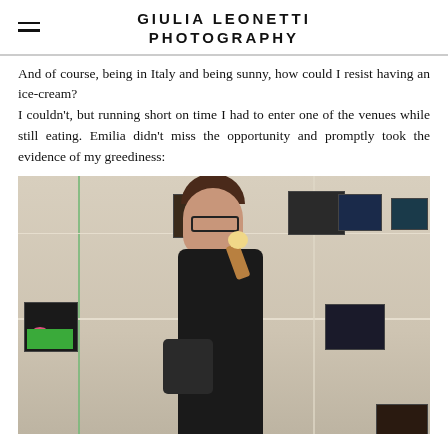GIULIA LEONETTI PHOTOGRAPHY
And of course, being in Italy and being sunny, how could I resist having an ice-cream?
I couldn't, but running short on time I had to enter one of the venues while still eating. Emilia didn't miss the opportunity and promptly took the evidence of my greediness:
[Figure (photo): Woman with glasses and dark clothing eating an ice cream cone inside an exhibition venue with photographs displayed on the walls connected by strings.]